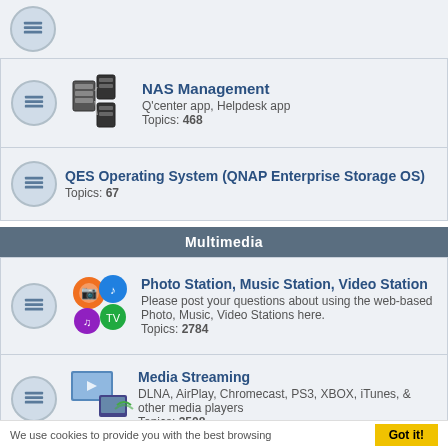NAS Management - Q'center app, Helpdesk app - Topics: 468
QES Operating System (QNAP Enterprise Storage OS) - Topics: 67
Multimedia
Photo Station, Music Station, Video Station - Please post your questions about using the web-based Photo, Music, Video Stations here. - Topics: 2784
Media Streaming - DLNA, AirPlay, Chromecast, PS3, XBOX, iTunes, & other media players - Topics: 3508
Mobile Devices - iPhone, Windows Mobile, Symbian, Android - Topics: 417
LOGIN • REGISTER
We use cookies to provide you with the best browsing